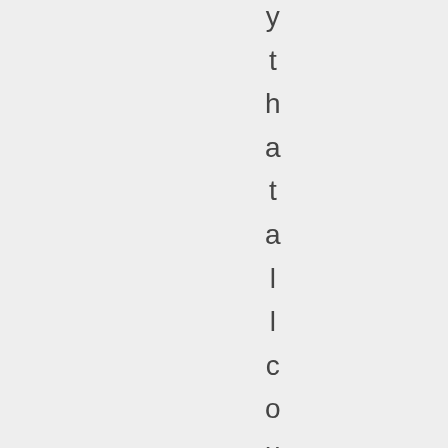y t h a t a l l c o u p s a n d